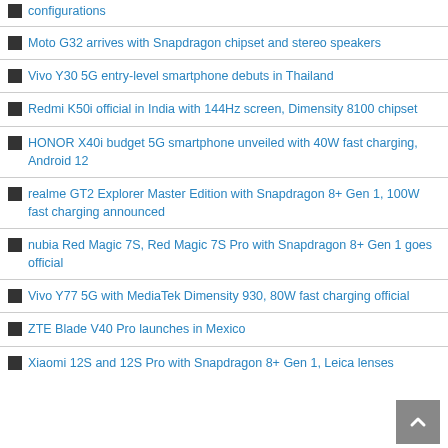configurations
Moto G32 arrives with Snapdragon chipset and stereo speakers
Vivo Y30 5G entry-level smartphone debuts in Thailand
Redmi K50i official in India with 144Hz screen, Dimensity 8100 chipset
HONOR X40i budget 5G smartphone unveiled with 40W fast charging, Android 12
realme GT2 Explorer Master Edition with Snapdragon 8+ Gen 1, 100W fast charging announced
nubia Red Magic 7S, Red Magic 7S Pro with Snapdragon 8+ Gen 1 goes official
Vivo Y77 5G with MediaTek Dimensity 930, 80W fast charging official
ZTE Blade V40 Pro launches in Mexico
Xiaomi 12S and 12S Pro with Snapdragon 8+ Gen 1, Leica lenses